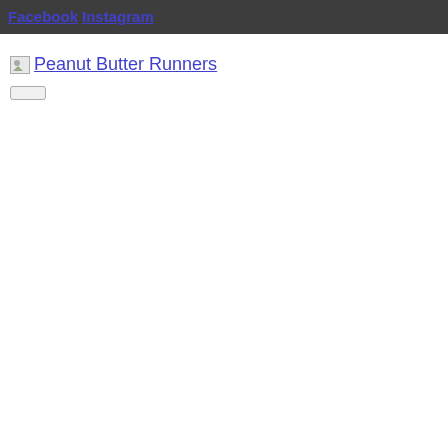Facebook Instagram
Peanut Butter Runners
[Figure (other): Small broken/placeholder image icon next to site logo text]